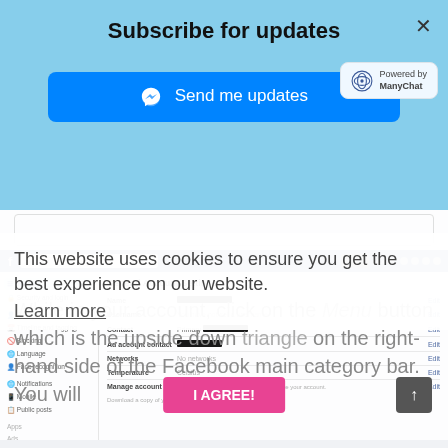Subscribe for updates
[Figure (screenshot): Blue subscribe overlay with 'Send me updates' Messenger button and ManyChat badge]
[Figure (screenshot): Facebook General Account Settings page screenshot showing sidebar with General, Security and login, Privacy, Timeline and tagging, Blocking, Language, Face recognition, Notifications, Mobile, Public posts, Apps, Ads, Payments; main area shows Name, Username, Contact, Ad account contact, Networks, Temperature, Manage account rows with redacted personal info]
This website uses cookies to ensure you get the best experience on our website.
Learn more
While in your account, click on the Menu button which is the upside down triangle on the right-hand side of the Facebook main category bar. You will